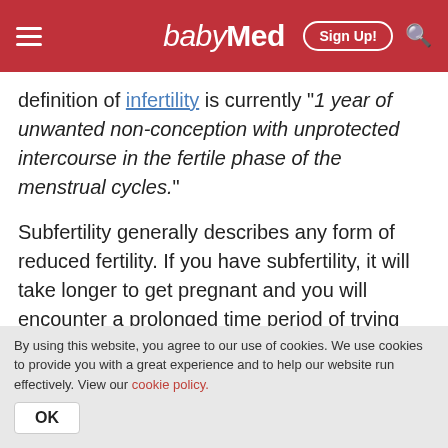babyMed — Sign Up!
definition of infertility is currently "1 year of unwanted non-conception with unprotected intercourse in the fertile phase of the menstrual cycles."
Subfertility generally describes any form of reduced fertility. If you have subfertility, it will take longer to get pregnant and you will encounter a prolonged time period of trying but not conceiving. (Read our Guide to Infertility to find
By using this website, you agree to our use of cookies. We use cookies to provide you with a great experience and to help our website run effectively. View our cookie policy.
OK